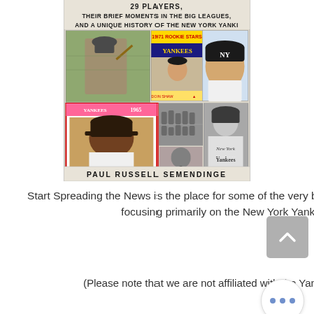[Figure (photo): Book cover for a book by Paul Russell Semendinge featuring baseball cards and photos of New York Yankees players. Title text reads '29 Players, Their Brief Moments in the Big Leagues, and A Unique History of the New York Yank'. Bottom shows author name 'Paul Russell Semendinge'.]
Start Spreading the News is the place for some of the very best analysis and insight focusing primarily on the New York Yankees.
(Please note that we are not affiliated with the Yankees and